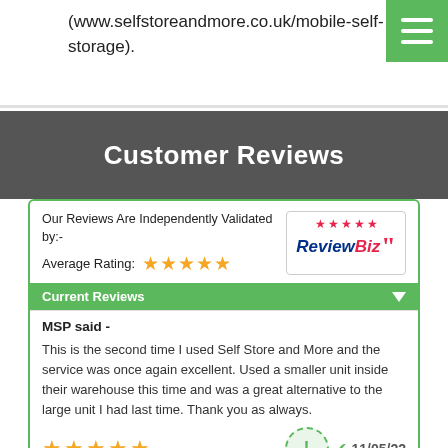(www.selfstoreandmore.co.uk/mobile-self-storage).
Customer Reviews
Our Reviews Are Independently Validated by:- Average Rating: ★★★★★
[Figure (logo): ReviewBiz logo with pink stars and blue/pink text]
Current Reviews
MSP said -
This is the second time I used Self Store and More and the service was once again excellent. Used a smaller unit inside their warehouse this time and was a great alternative to the large unit I had last time. Thank you as always.
★★★★★  11/05/22
[Self Store & More] replied